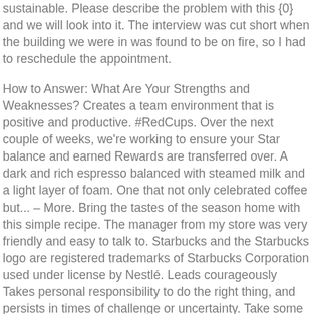sustainable. Please describe the problem with this {0} and we will look into it. The interview was cut short when the building we were in was found to be on fire, so I had to reschedule the appointment.
How to Answer: What Are Your Strengths and Weaknesses? Creates a team environment that is positive and productive. #RedCups. Over the next couple of weeks, we're working to ensure your Star balance and earned Rewards are transferred over. A dark and rich espresso balanced with steamed milk and a light layer of foam. One that not only celebrated coffee but... – More. Bring the tastes of the season home with this simple recipe. The manager from my store was very friendly and easy to talk to. Starbucks and the Starbucks logo are registered trademarks of Starbucks Corporation used under license by Nestlé. Leads courageously Takes personal responsibility to do the right thing, and persists in times of challenge or uncertainty. Take some notes, take a screen shot, and definitely take away a little Starbuckese language skills from our resident experts. The easiest